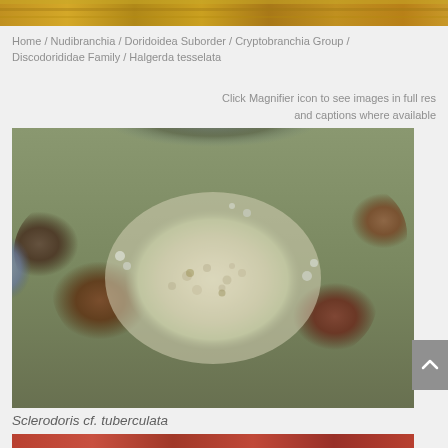[Figure (photo): Top partial image of what appears to be a nudibranch or sea slug specimen with orange/golden coloration, cropped at the top of the page]
Home / Nudibranchia / Doridoidea Suborder / Cryptobranchia Group / Discodorididae Family / Halgerda tesselata
Click Magnifier icon to see images in full res and captions where available
[Figure (photo): Underwater photograph of Sclerodoris cf. tuberculata, a pale yellowish-white nudibranch sea slug resting on a rocky reef substrate with reddish-brown encrusting organisms. The nudibranch has a smooth, dome-shaped body with subtle tubercles.]
Sclerodoris cf. tuberculata
[Figure (photo): Bottom partial image showing a reddish-brown nudibranch specimen, cropped at the bottom of the page]